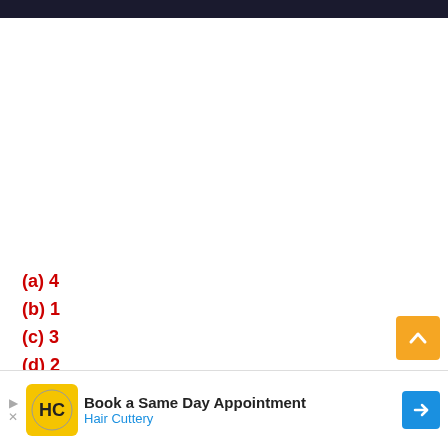(a) 4
(b) 1
(c) 3
(d) 2
[Figure (other): Diagram showing letter A at top with a caret/arrow symbol below it]
[Figure (other): Advertisement banner: Book a Same Day Appointment - Hair Cuttery]